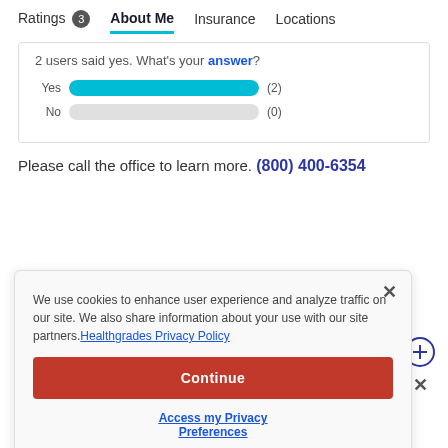Ratings 3   About Me   Insurance   Locations
2 users said yes. What's your answer?
[Figure (bar-chart): Yes/No Survey]
Please call the office to learn more. (800) 400-6354
We use cookies to enhance user experience and analyze traffic on our site. We also share information about your use with our site partners. Healthgrades Privacy Policy
Continue
Access my Privacy Preferences